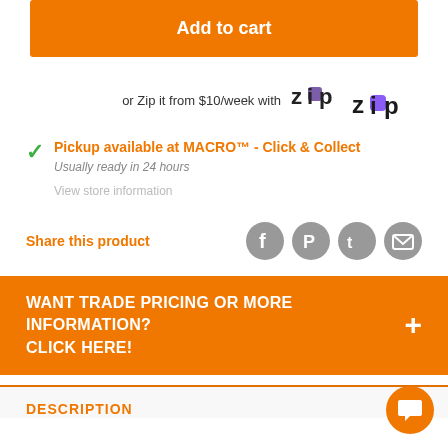Add to cart
or Zip it from $10/week with Zip
Pickup available at MACRO™ - Click & Collect
Usually ready in 24 hours
View store information
Share this product
WANT TRADE PRICING OR MORE INFORMATION? CLICK HERE!
DESCRIPTION